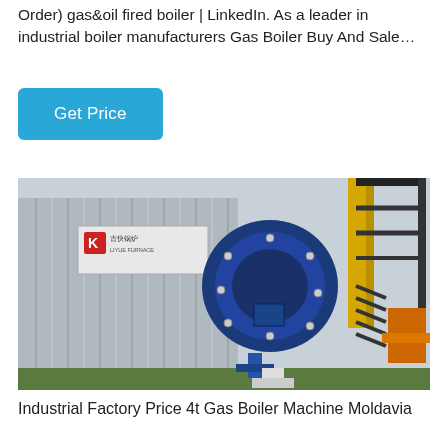Order) gas&oil fired boiler | LinkedIn. As a leader in industrial boiler manufacturers Gas Boiler Buy And Sale…
[Figure (photo): Industrial gas-fired boiler unit outdoors; a large corrugated metal tank with Chinese branding on the left, a large blue circular burner mounted on the front, yellow vertical pipes and black metal staircase/scaffolding on the right.]
Industrial Factory Price 4t Gas Boiler Machine Moldavia